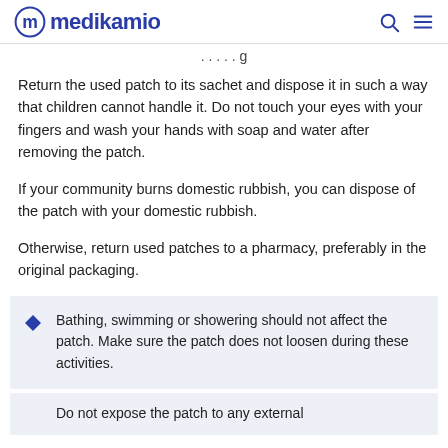medikamio
Return the used patch to its sachet and dispose it in such a way that children cannot handle it. Do not touch your eyes with your fingers and wash your hands with soap and water after removing the patch.
If your community burns domestic rubbish, you can dispose of the patch with your domestic rubbish.
Otherwise, return used patches to a pharmacy, preferably in the original packaging.
Bathing, swimming or showering should not affect the patch. Make sure the patch does not loosen during these activities.
Do not expose the patch to any external